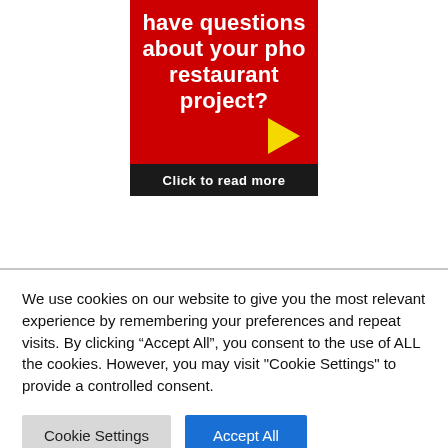[Figure (illustration): Red advertisement box with white bold text reading 'have questions about your pho restaurant project?' with a yellow right-pointing arrow, and a black bar at the bottom reading 'Click to read more']
We use cookies on our website to give you the most relevant experience by remembering your preferences and repeat visits. By clicking “Accept All”, you consent to the use of ALL the cookies. However, you may visit "Cookie Settings" to provide a controlled consent.
Cookie Settings
Accept All